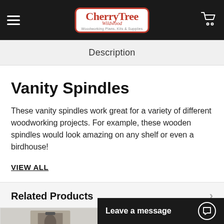CherryTree Wildwood — Woodworking Plans, Kits & Supplies
Description
Vanity Spindles
These vanity spindles work great for a variety of different woodworking projects. For example, these wooden spindles would look amazing on any shelf or even a birdhouse!
VIEW ALL
Related Products
[Figure (photo): Thumbnail image of a related product]
[Figure (screenshot): Live chat widget overlay: Leave a message]